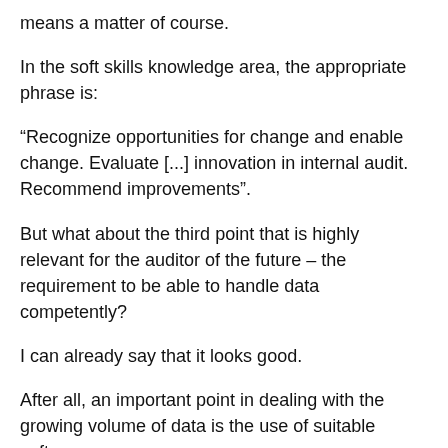means a matter of course.
In the soft skills knowledge area, the appropriate phrase is:
“Recognize opportunities for change and enable change. Evaluate [...] innovation in internal audit. Recommend improvements”.
But what about the third point that is highly relevant for the auditor of the future – the requirement to be able to handle data competently?
I can already say that it looks good.
After all, an important point in dealing with the growing volume of data is the use of suitable software.
And for starters, this point is also reflected in th